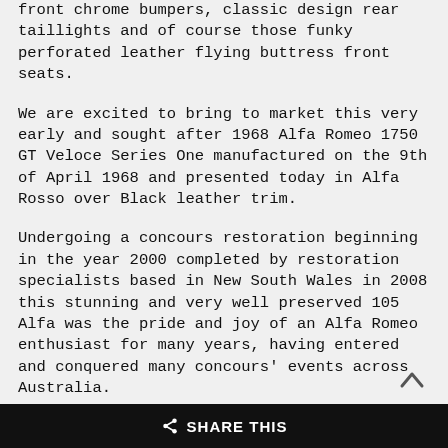front chrome bumpers, classic design rear taillights and of course those funky perforated leather flying buttress front seats.
We are excited to bring to market this very early and sought after 1968 Alfa Romeo 1750 GT Veloce Series One manufactured on the 9th of April 1968 and presented today in Alfa Rosso over Black leather trim.
Undergoing a concours restoration beginning in the year 2000 completed by restoration specialists based in New South Wales in 2008 this stunning and very well preserved 105 Alfa was the pride and joy of an Alfa Romeo enthusiast for many years, having entered and conquered many concours' events across Australia.
Fast forward just over 10 years later, the car still presents lovely throughout, the interior is exceptional, all the leather shows little wear, the exterior paintwork shows slight signs of patina you'd expect from an earlier restoration but still presents beautifully, the engine starts without hesitation and
SHARE THIS